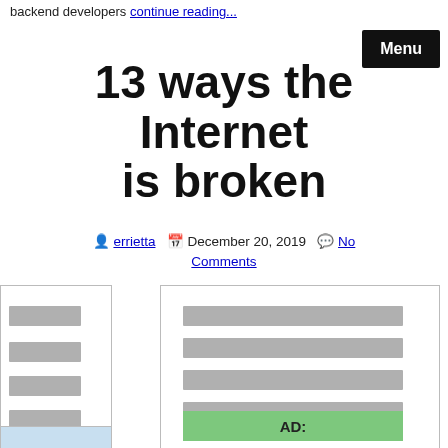backend developers continue reading...
13 ways the Internet is broken
errietta  December 20, 2019  No Comments
[Figure (screenshot): Left sidebar panel with grey placeholder bars representing navigation links]
[Figure (screenshot): Main content panel with grey placeholder content bars and a green AD: box at the bottom]